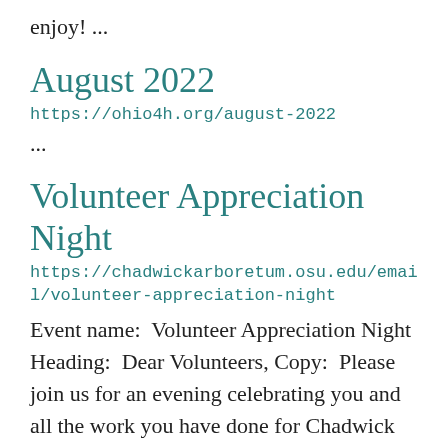enjoy! ...
August 2022
https://ohio4h.org/august-2022
...
Volunteer Appreciation Night
https://chadwickarboretum.osu.edu/email/volunteer-appreciation-night
Event name:  Volunteer Appreciation Night Heading:  Dear Volunteers, Copy:  Please join us for an evening celebrating you and all the work you have done for Chadwick Arboretum this year. Whether you can contributed 2 hours or 200, we hope you